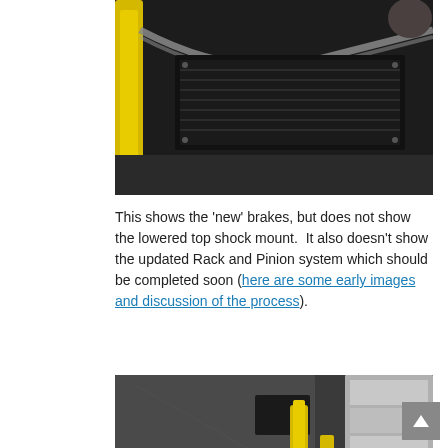[Figure (photo): Close-up photo of car undercarriage parts including a yellow shock absorber, braided hose, and black metal components on a dark background.]
This shows the 'new' brakes, but does not show the lowered top shock mount.  It also doesn't show the updated Rack and Pinion system which should be completed soon (here are some early images and discussion of the process).
[Figure (photo): Photo of car suspension and brake assembly showing a yellow shock absorber, brake rotor/hub, control arms, and metal frame components in a garage workshop setting.]